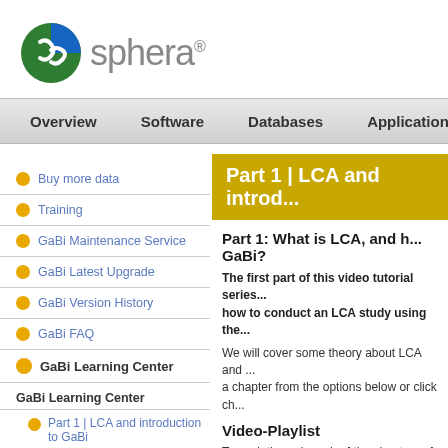[Figure (logo): Sphera company logo with globe icon and 'sphera' text with registered trademark symbol]
Overview | Software | Databases | Applications | Indust...
Part 1 | LCA and introd...
Buy more data
Training
GaBi Maintenance Service
GaBi Latest Upgrade
GaBi Version History
GaBi FAQ
GaBi Learning Center
GaBi Learning Center
Part 1 | LCA and introduction to GaBi
Part 1: What is LCA, and h... GaBi?
The first part of this video tutorial series... how to conduct an LCA study using the...
We will cover some theory about LCA and ... a chapter from the options below or click ch...
Video-Playlist
To work through each of the chapters of Pa... Learning Center Part 1 | LCA and introduct... video chapters play in sequence.
[Figure (screenshot): Video thumbnail showing Sphera logo and 'Part 1 | Chapter 1' text on dark background]